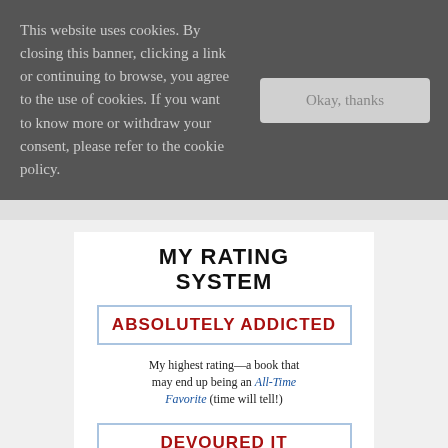This website uses cookies. By closing this banner, clicking a link or continuing to browse, you agree to the use of cookies. If you want to know more or withdraw your consent, please refer to the cookie policy.
[Figure (screenshot): Cookie consent banner with 'Okay, thanks' button on dark grey background]
MY RATING SYSTEM
ABSOLUTELY ADDICTED
My highest rating—a book that may end up being an All-Time Favorite (time will tell!)
DEVOURED IT
LOVED this book! A few nitpicky things left me